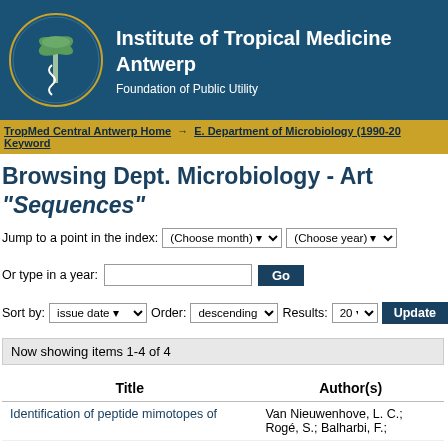[Figure (logo): Institute of Tropical Medicine Antwerp logo - circular emblem with palm tree and snake]
Institute of Tropical Medicine Antwerp
Foundation of Public Utility
TropMed Central Antwerp Home → E. Department of Microbiology (1990-20... Keyword
Browsing Dept. Microbiology - Art... "Sequences"
Jump to a point in the index: (Choose month) (Choose year)
Or type in a year: [text input] Go
Sort by: issue date  Order: descending  Results: 20  Update
Now showing items 1-4 of 4
| Title | Author(s) |
| --- | --- |
| Identification of peptide mimotopes of | Van Nieuwenhove, L. C.; Rogé, S.; Balharbi, F.; |
Identification of peptide mimotopes of
Van Nieuwenhove, L. C.; Rogé, S.; Balharbi, F.;